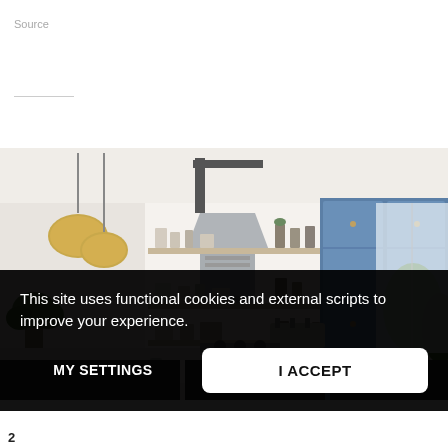Source
[Figure (screenshot): Taboola Feed branding label in upper right]
[Figure (photo): Modern kitchen interior with open shelves, blue cabinetry, stainless steel range hood, gold pendant lights, and green plants]
This site uses functional cookies and external scripts to improve your experience.
MY SETTINGS
I ACCEPT